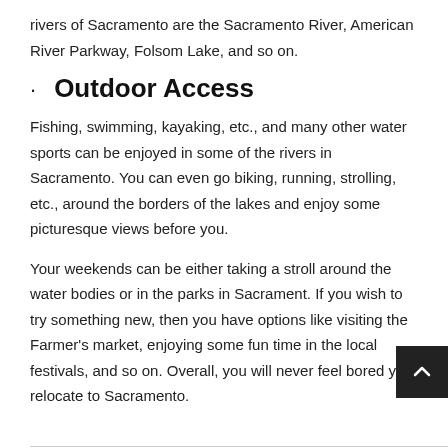rivers of Sacramento are the Sacramento River, American River Parkway, Folsom Lake, and so on.
· Outdoor Access
Fishing, swimming, kayaking, etc., and many other water sports can be enjoyed in some of the rivers in Sacramento. You can even go biking, running, strolling, etc., around the borders of the lakes and enjoy some picturesque views before you.
Your weekends can be either taking a stroll around the water bodies or in the parks in Sacrament. If you wish to try something new, then you have options like visiting the Farmer's market, enjoying some fun time in the local festivals, and so on. Overall, you will never feel bored you relocate to Sacramento.